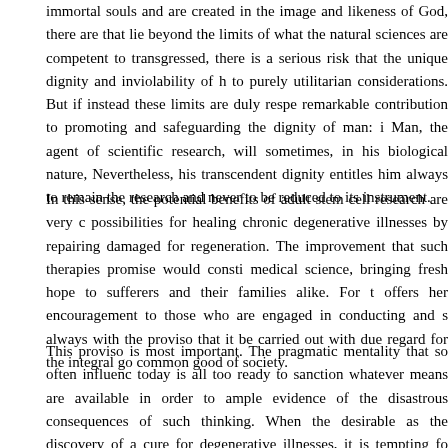immortal souls and are created in the image and likeness of God, there are that lie beyond the limits of what the natural sciences are competent to transgressed, there is a serious risk that the unique dignity and inviolability of h to purely utilitarian considerations. But if instead these limits are duly respe remarkable contribution to promoting and safeguarding the dignity of man: i Man, the agent of scientific research, will sometimes, in his biological nature, Nevertheless, his transcendent dignity entitles him always to remain the research and never to be reduced to its instrument.
In this sense, the potential benefits of adult stem cell research are very c possibilities for healing chronic degenerative illnesses by repairing damaged for regeneration. The improvement that such therapies promise would consti medical science, bringing fresh hope to sufferers and their families alike. For t offers her encouragement to those who are engaged in conducting and s always with the proviso that it be carried out with due regard for the integral go common good of society.
This proviso is most important. The pragmatic mentality that so often influenc today is all too ready to sanction whatever means are available in order to ample evidence of the disastrous consequences of such thinking. When the desirable as the discovery of a cure for degenerative illnesses, it is tempting fo brush aside ethical objections and to press ahead with whatever research s breakthrough. Those who advocate research on embryonic stem cells in the make the grave mistake of denying the inalienable right to life of all hum conception to natural death. The destruction of even one human life can ne